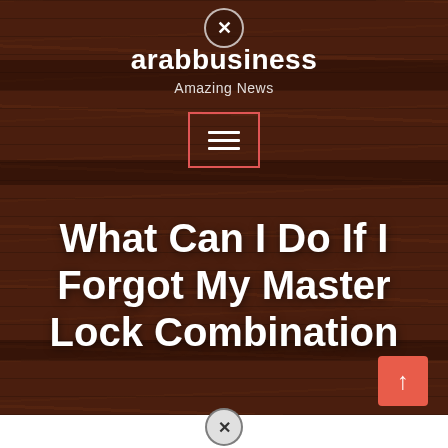arabbusiness
Amazing News
[Figure (screenshot): Website header with wood-textured dark brown background, site logo 'arabbusiness' in white bold text, tagline 'Amazing News' below, red-bordered hamburger menu icon, large article headline 'What Can I Do If I Forgot My Master Lock Combination' in white bold text, coral/red scroll-to-top button at bottom right, close buttons at top and bottom]
What Can I Do If I Forgot My Master Lock Combination